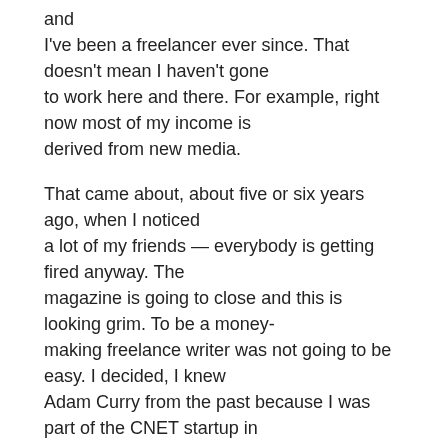and I've been a freelancer ever since. That doesn't mean I haven't gone to work here and there. For example, right now most of my income is derived from new media.
That came about, about five or six years ago, when I noticed a lot of my friends — everybody is getting fired anyway. The magazine is going to close and this is looking grim. To be a money-making freelance writer was not going to be easy. I decided, I knew Adam Curry from the past because I was part of the CNET startup in '93, '94, something like that.